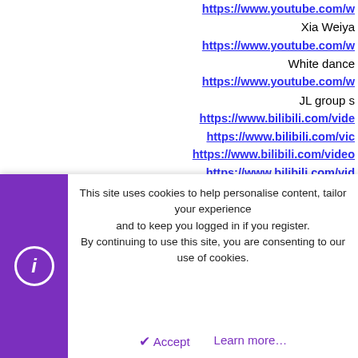https://www.youtube.com/w
Xia Weiya
https://www.youtube.com/w
White dance
https://www.youtube.com/w
JL group s
https://www.bilibili.com/vide
https://www.bilibili.com/vic
https://www.bilibili.com/video
https://www.bilibili.com/vid
https://www.bilibili.com/video
Karaok
https://www.bilibili.com/vi
https://www.bilibili.com/vic
https://www.bilibili.com/v
[Figure (screenshot): Black image bar at bottom of content area]
This site uses cookies to help personalise content, tailor your experience and to keep you logged in if you register. By continuing to use this site, you are consenting to our use of cookies.
Accept
Learn more…